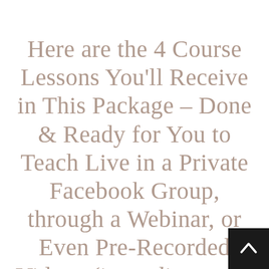Here are the 4 Course Lessons You'll Receive in This Package – Done & Ready for You to Teach Live in a Private Facebook Group, through a Webinar, or Even Pre-Recorded Videos (just edit, tweak, and brand the content to your heart's